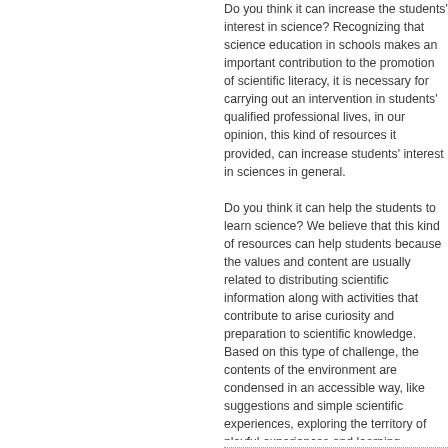Do you think it can increase the students' interest in science? Recognizing that science education in schools makes an important contribution to the promotion of scientific literacy, it is necessary for carrying out an intervention in students' qualified professional lives, in our opinion, this kind of resources it provided, can increase students' interest in sciences in general.
Do you think it can help the students to learn science? We believe that this kind of resources can help students because the values and content are usually related to distributing scientific information along with activities that contribute to arise curiosity and preparation to scientific knowledge. Based on this type of challenge, the contents of the environment are condensed in an accessible way, like suggestions and simple scientific experiences, exploring the territory of playful experiences and learning.
Do you think it propose an innovative didactical approach? Basing in this kind of resources, teachers are specifically being called to lead and guide the students in the designed work and increase your understanding, once curiosity and capability of questioning are crucial because they do not give right answers, but they don't do good discoveries. These resources, designed to assist teachers in this mission, can collaborate to increase the motivation of young people by showing the importance of science and ultimately, attract young people to scientific careers.